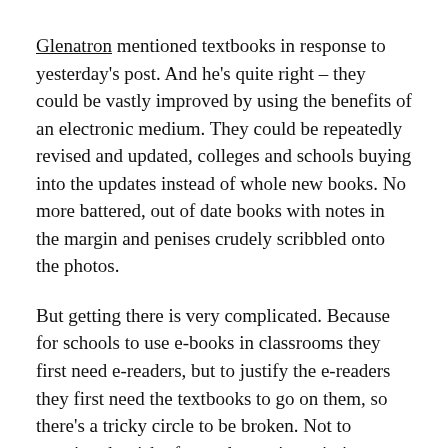Glenatron mentioned textbooks in response to yesterday's post. And he's quite right – they could be vastly improved by using the benefits of an electronic medium. They could be repeatedly revised and updated, colleges and schools buying into the updates instead of whole new books. No more battered, out of date books with notes in the margin and penises crudely scribbled onto the photos.
But getting there is very complicated. Because for schools to use e-books in classrooms they first need e-readers, but to justify the e-readers they first need the textbooks to go on them, so there's a tricky circle to be broken. Not to mention the risk of e-readers going missing – schools will probably need them cheap and sturdy.
Then there's a bigger academic issue, because part of